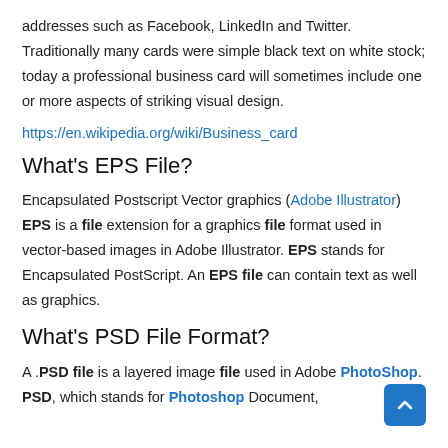addresses such as Facebook, LinkedIn and Twitter. Traditionally many cards were simple black text on white stock; today a professional business card will sometimes include one or more aspects of striking visual design.
https://en.wikipedia.org/wiki/Business_card
What's EPS File?
Encapsulated Postscript Vector graphics (Adobe Illustrator) EPS is a file extension for a graphics file format used in vector-based images in Adobe Illustrator. EPS stands for Encapsulated PostScript. An EPS file can contain text as well as graphics.
What's PSD File Format?
A .PSD file is a layered image file used in Adobe PhotoShop. PSD, which stands for Photoshop Document,